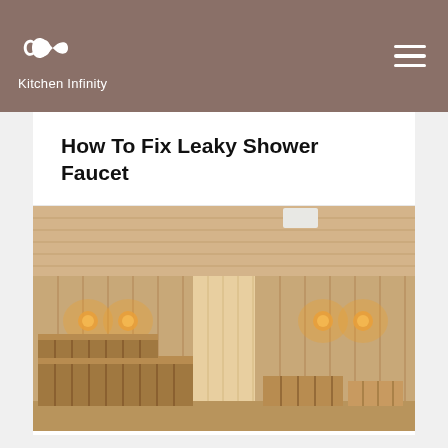Kitchen Infinity
How To Fix Leaky Shower Faucet
[Figure (photo): Interior of a wooden sauna room with pine wood plank walls and ceiling, wall-mounted lights glowing amber, and wooden benches in a corner arrangement]